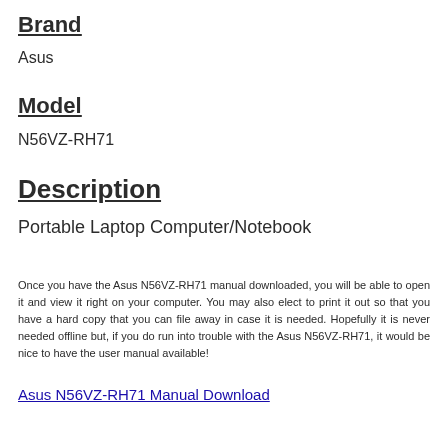Brand
Asus
Model
N56VZ-RH71
Description
Portable Laptop Computer/Notebook
Once you have the Asus N56VZ-RH71 manual downloaded, you will be able to open it and view it right on your computer. You may also elect to print it out so that you have a hard copy that you can file away in case it is needed. Hopefully it is never needed offline but, if you do run into trouble with the Asus N56VZ-RH71, it would be nice to have the user manual available!
Asus N56VZ-RH71 Manual Download